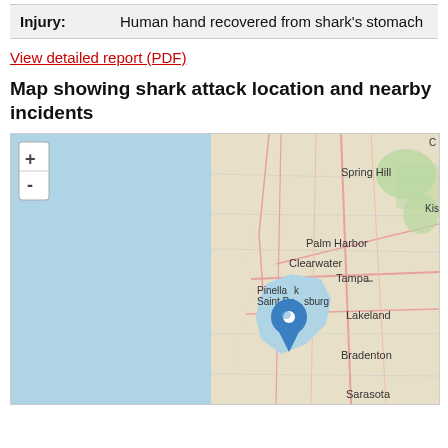| Field | Value |
| --- | --- |
| Injury: | Human hand recovered from shark's stomach |
View detailed report (PDF)
Map showing shark attack location and nearby incidents
[Figure (map): Map showing the Tampa Bay / Saint Petersburg, Florida area with a blue location pin marker indicating a shark attack site near Saint Petersburg / Pinellas Park. Map shows Spring Hill, Palm Harbor, Clearwater, Tampa, Lakeland, Pinellas Park, Saint Petersburg, Bradenton, and Sarasota. Includes zoom in (+) and zoom out (-) controls in the top left corner.]